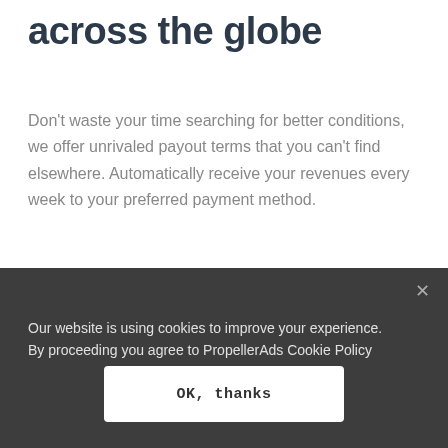across the globe
Don't waste your time searching for better conditions, we offer unrivaled payout terms that you can't find elsewhere. Automatically receive your revenues every week to your preferred payment method.
Weekly payouts (every Thursday).
The minimum withdrawal amount...
[Figure (screenshot): Cookie consent banner overlay with dark background. Text: 'Our website is using cookies to improve your experience. By proceeding you agree to PropellerAds Cookie Policy'. Button: 'OK, thanks'. Close (×) button top right.]
[Figure (logo): PayPal logo at bottom of page, green and blue italic text.]